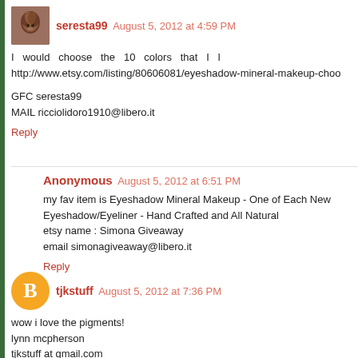seresta99 August 5, 2012 at 4:59 PM
I would choose the 10 colors that I l http://www.etsy.com/listing/80606081/eyeshadow-mineral-makeup-choo
GFC seresta99
MAIL ricciolidoro1910@libero.it
Reply
Anonymous August 5, 2012 at 6:51 PM
my fav item is Eyeshadow Mineral Makeup - One of Each New Eyeshadow/Eyeliner - Hand Crafted and All Natural
etsy name : Simona Giveaway
email simonagiveaway@libero.it
Reply
tjkstuff August 5, 2012 at 7:36 PM
wow i love the pigments!
lynn mcpherson
tjkstuff at gmail.com
Reply